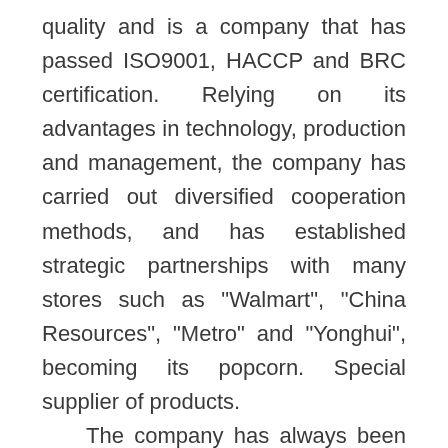quality and is a company that has passed ISO9001, HACCP and BRC certification. Relying on its advantages in technology, production and management, the company has carried out diversified cooperation methods, and has established strategic partnerships with many stores such as "Walmart", "China Resources", "Metro" and "Yonghui", becoming its popcorn. Special supplier of products.
    The company has always been adhering to the service concept of "delivering messages in 5 minutes, solving problems within 24 hours". In order to effectively implement the service concept, Geely has established service centers in 20 cities across